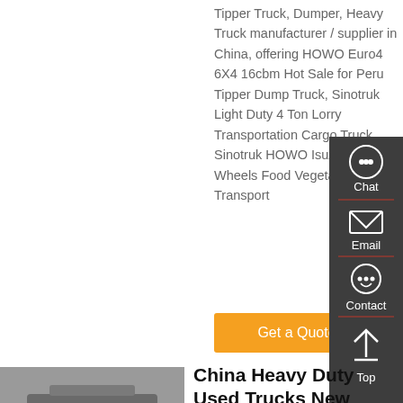Tipper Truck, Dumper, Heavy Truck manufacturer / supplier in China, offering HOWO Euro4 6X4 16cbm Hot Sale for Peru Tipper Dump Truck, Sinotruk Light Duty 4 Ton Lorry Transportation Cargo Truck, Sinotruk HOWO Isuzu 4X2 6 Wheels Food Vegetable Transport
[Figure (screenshot): Orange 'Get a Quote' button]
[Figure (screenshot): Dark sidebar with Chat, Email, Contact, Top navigation icons]
[Figure (photo): Underside/rear axle of a heavy truck]
China Heavy Duty Used Trucks New Sino Sinotruk...